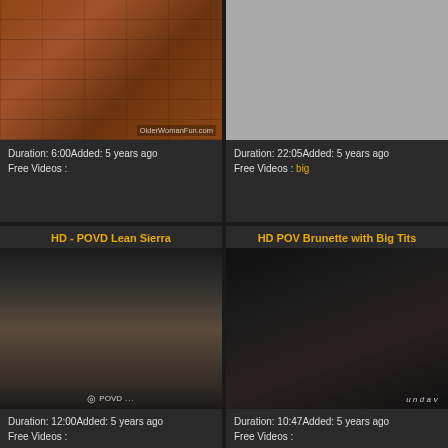[Figure (photo): Video thumbnail showing woman against brick wall background with watermark OlderWomanFun.com]
Duration: 6:00Added: 5 years ago
Free Videos :
[Figure (photo): Gray placeholder thumbnail for second video]
Duration: 22:05Added: 5 years ago
Free Videos : big
HD - POVD Lean Sierra
[Figure (photo): Video thumbnail with POVD watermark showing blonde woman]
Duration: 12:00Added: 5 years ago
Free Videos :
HD POV Brunette with Big Tits
[Figure (photo): Video thumbnail with undav watermark showing brunette woman]
Duration: 10:47Added: 5 years ago
Free Videos :